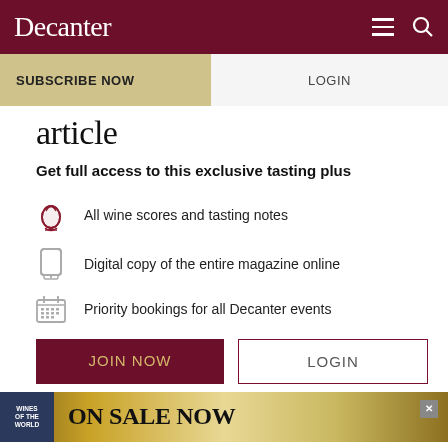Decanter
SUBSCRIBE NOW | LOGIN
article
Get full access to this exclusive tasting plus
All wine scores and tasting notes
Digital copy of the entire magazine online
Priority bookings for all Decanter events
JOIN NOW | LOGIN
ON SALE NOW